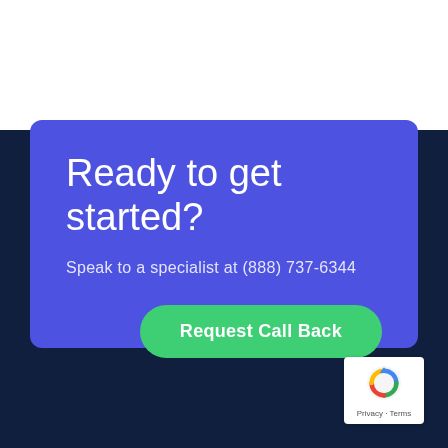Ready to get started?
Speak to a specialist at (888) 737-6344
Request Call Back
[Figure (logo): Google reCAPTCHA badge with recycling-style arrow logo, and links: Privacy - Terms]